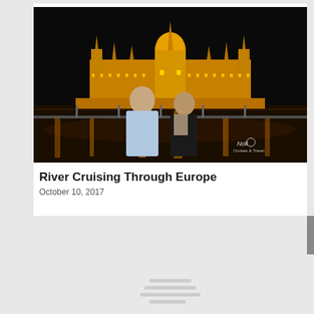[Figure (photo): Two people (a man and a woman) standing on a boat deck at night with the illuminated Hungarian Parliament Building behind them across the Danube River in Budapest. A watermark in the bottom right reads 'Nok' with a logo.]
River Cruising Through Europe
October 10, 2017
[Figure (photo): Second photo partially visible, appears to be loading with placeholder lines shown.]